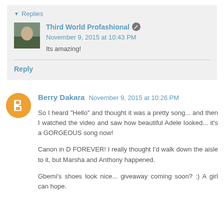Replies
Third World Profashional  November 9, 2015 at 10:43 PM
Its amazing!
Reply
Berry Dakara  November 9, 2015 at 10:26 PM
So I heard "Hello" and thought it was a pretty song... and then I watched the video and saw how beautiful Adele looked... it's a GORGEOUS song now!

Canon in D FOREVER! I really thought I'd walk down the aisle to it, but Marsha and Anthony happened.

Gbemi's shoes look nice... giveaway coming soon? :) A girl can hope.